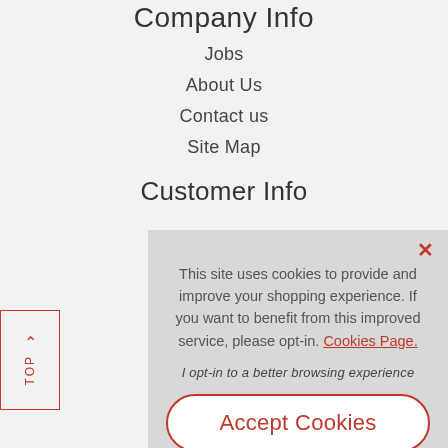Company Info
Jobs
About Us
Contact us
Site Map
Customer Info
This site uses cookies to provide and improve your shopping experience. If you want to benefit from this improved service, please opt-in. Cookies Page.
I opt-in to a better browsing experience
Accept Cookies